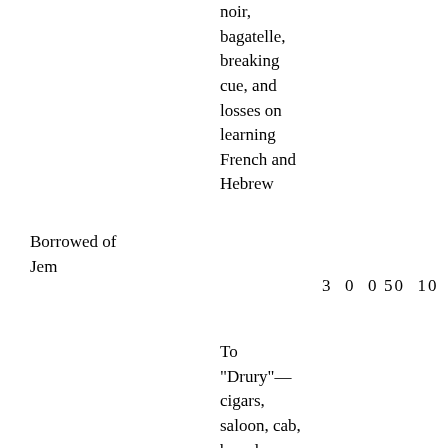noir, bagatelle, breaking cue, and losses on learning French and Hebrew
Borrowed of Jem
3  0  0
50  10  9
To "Drury"— cigars, saloon, cab, brandy, Falstaff Drawing Room, music, oysters, champagne, brandy, damaging lady's bonnet, ditto gentleman's glass eye,